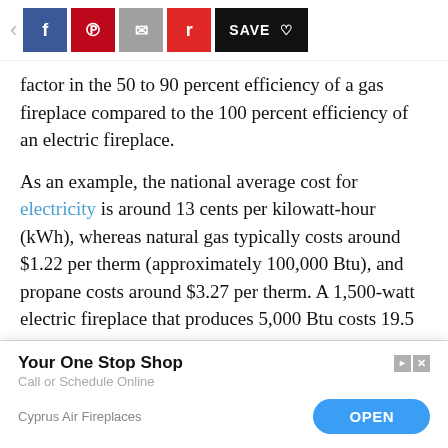< f p [email] r SAVE ♡
factor in the 50 to 90 percent efficiency of a gas fireplace compared to the 100 percent efficiency of an electric fireplace.
As an example, the national average cost for electricity is around 13 cents per kilowatt-hour (kWh), whereas natural gas typically costs around $1.22 per therm (approximately 100,000 Btu), and propane costs around $3.27 per therm. A 1,500-watt electric fireplace that produces 5,000 Btu costs 19.5 cents per hour to operate. For comparison, a small 6,000 Btu gas fireplace...ld effecti...Btu x 0.85 e...x $1.22)...9.6
[Figure (other): Advertisement overlay: Your One Stop Shop. Call or Schedule Online. Cyprus Air Fireplaces. OPEN button.]